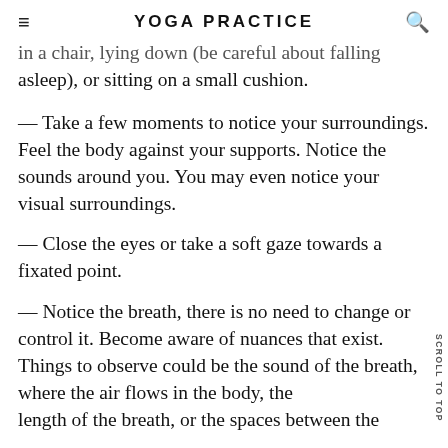YOGA PRACTICE
in a chair, lying down (be careful about falling asleep), or sitting on a small cushion.
— Take a few moments to notice your surroundings. Feel the body against your supports. Notice the sounds around you. You may even notice your visual surroundings.
— Close the eyes or take a soft gaze towards a fixated point.
— Notice the breath, there is no need to change or control it. Become aware of nuances that exist. Things to observe could be the sound of the breath, where the air flows in the body, the length of the breath, or the spaces between the